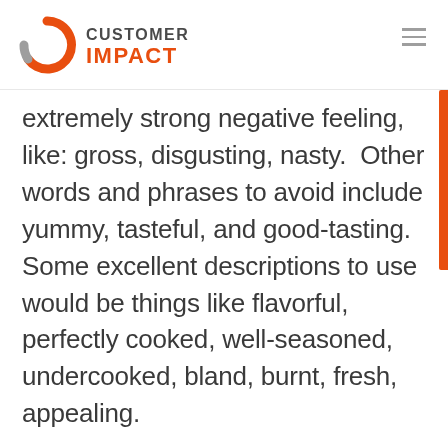[Figure (logo): Customer Impact logo with orange circular C icon and company name in gray and orange text]
extremely strong negative feeling, like: gross, disgusting, nasty.  Other words and phrases to avoid include yummy, tasteful, and good-tasting. Some excellent descriptions to use would be things like flavorful, perfectly cooked, well-seasoned, undercooked, bland, burnt, fresh, appealing.